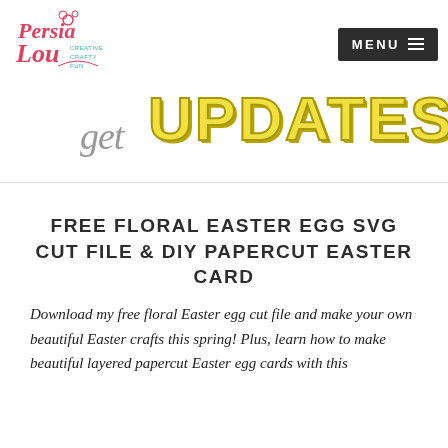Persia Lou – Creative Crafty Fun | MENU
[Figure (illustration): Persia Lou logo in red script with decorative flourishes, and tagline 'Creative Crafty Fun' in small teal text]
get UPDATES
FREE FLORAL EASTER EGG SVG CUT FILE & DIY PAPERCUT EASTER CARD
Download my free floral Easter egg cut file and make your own beautiful Easter crafts this spring! Plus, learn how to make beautiful layered papercut Easter egg cards with this